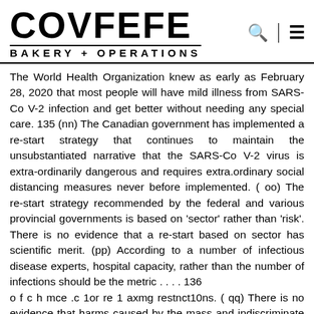COVFEFE BAKERY + OPERATIONS
The World Health Organization knew as early as February 28, 2020 that most people will have mild illness from SARS-Co V-2 infection and get better without needing any special care. 135 (nn) The Canadian government has implemented a re-start strategy that continues to maintain the unsubstantiated narrative that the SARS-Co V-2 virus is extra-ordinarily dangerous and requires extra.ordinary social distancing measures never before implemented. ( oo) The re-start strategy recommended by the federal and various provincial governments is based on 'sector' rather than 'risk'. There is no evidence that a re-start based on sector has scientific merit. (pp) According to a number of infectious disease experts, hospital capacity, rather than the number of infections should be the metric . . . . 136
o f c h mce .c 1or re 1 axmg restnct10ns. ( qq) There is no evidence that harms caused by the mass and indiscriminate containment of citizens was calculated and
134